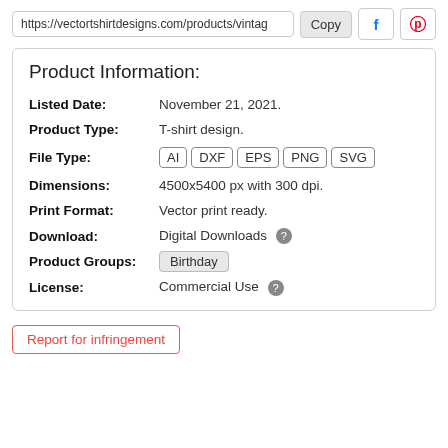https://vectortshirtdesigns.com/products/vintag   Copy
Product Information:
Listed Date: November 21, 2021.
Product Type: T-shirt design.
File Type: AI  DXF  EPS  PNG  SVG
Dimensions: 4500x5400 px with 300 dpi.
Print Format: Vector print ready.
Download: Digital Downloads
Product Groups: Birthday
License: Commercial Use
Report for infringement